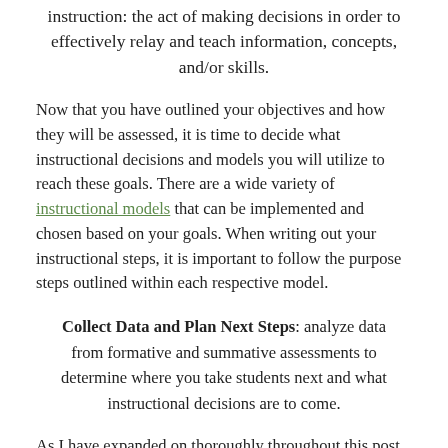instruction: the act of making decisions in order to effectively relay and teach information, concepts, and/or skills.
Now that you have outlined your objectives and how they will be assessed, it is time to decide what instructional decisions and models you will utilize to reach these goals. There are a wide variety of instructional models that can be implemented and chosen based on your goals. When writing out your instructional steps, it is important to follow the purpose steps outlined within each respective model.
Collect Data and Plan Next Steps: analyze data from formative and summative assessments to determine where you take students next and what instructional decisions are to come.
As I have expanded on thoroughly throughout this post, assessments are key to making instructional decisions. Therefore, collecting data from your lessons is crucial in